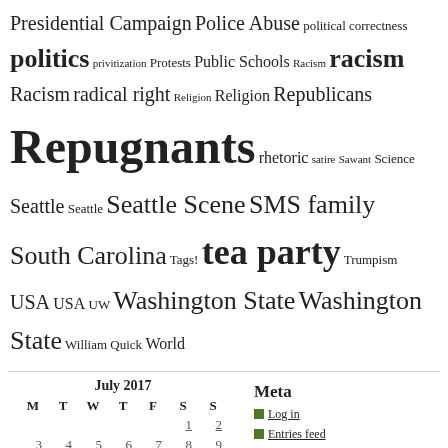Presidential Campaign Police Abuse political correctness politics privitization Protests Public Schools Racism racism Racism radical right Religion Religion Republicans Repugnants rhetoric satire Sawant Science Seattle Seattle Seattle Scene SMS family South Carolina Tags! tea party Trumpism USA USA UW Washington State Washington State William Quick World
| M | T | W | T | F | S | S |
| --- | --- | --- | --- | --- | --- | --- |
|  |  |  |  | 1 | 2 |
| 3 | 4 | 5 | 6 | 7 | 8 | 9 |
| 10 | 11 | 12 | 13 | 14 | 15 | 16 |
| 17 | 18 | 19 | 20 | 21 | 22 | 23 |
| 24 | 25 | 26 | 27 | 28 | 29 | 30 |
| 31 |  |  |  |  |  |  |
Meta
Log in
Entries feed
Comments feed
WordPress.org
Blogroll
Academic Blogs
Academic Freedom Blog, Good Links!
American Institute for Research … education and public policy
Educational Justice
HorsesAss
Science Blogs